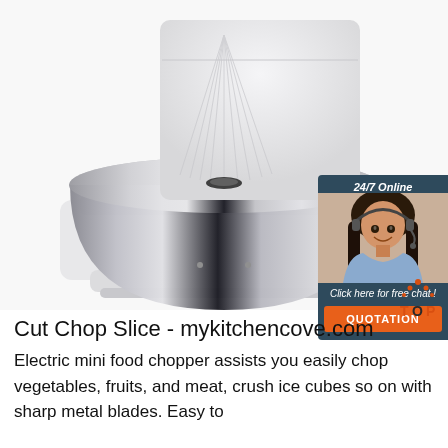[Figure (photo): Spiral dough mixer / stand mixer with stainless steel bowl and white base, shown close-up from below/side angle on white background]
[Figure (infographic): 24/7 Online chat widget with agent photo (woman with headset), text 'Click here for free chat!' and orange QUOTATION button]
[Figure (logo): TOP badge/logo with orange dots and text in orange and dark]
Cut Chop Slice - mykitchencove.com
Electric mini food chopper assists you easily chop vegetables, fruits, and meat, crush ice cubes so on with sharp metal blades. Easy to